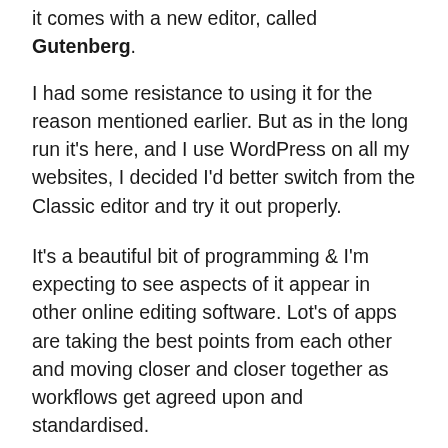it comes with a new editor, called Gutenberg.
I had some resistance to using it for the reason mentioned earlier. But as in the long run it’s here, and I use WordPress on all my websites, I decided I’d better switch from the Classic editor and try it out properly.
It’s a beautiful bit of programming & I’m expecting to see aspects of it appear in other online editing software. Lot’s of apps are taking the best points from each other and moving closer and closer together as workflows get agreed upon and standardised.
And you can see how it’s take the best aspects of other editors, like Apple iMac’s Pages, duplicating the sidebar document and block views.
Here are some things that I find are saving me